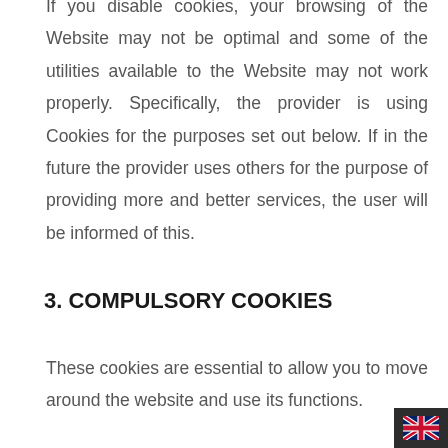If you disable cookies, your browsing of the Website may not be optimal and some of the utilities available to the Website may not work properly. Specifically, the provider is using Cookies for the purposes set out below. If in the future the provider uses others for the purpose of providing more and better services, the user will be informed of this.
3. COMPULSORY COOKIES
These cookies are essential to allow you to move around the website and use its functions.